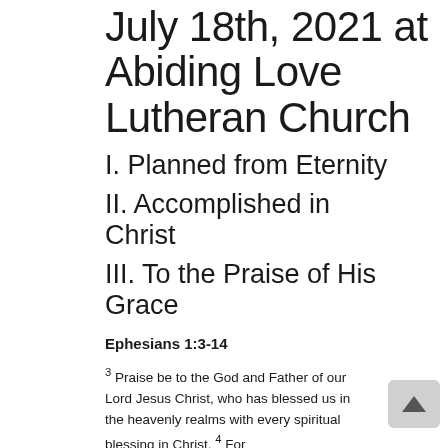July 18th, 2021 at Abiding Love Lutheran Church
I. Planned from Eternity
II. Accomplished in Christ
III. To the Praise of His Grace
Ephesians 1:3-14
3 Praise be to the God and Father of our Lord Jesus Christ, who has blessed us in the heavenly realms with every spiritual blessing in Christ. 4 For